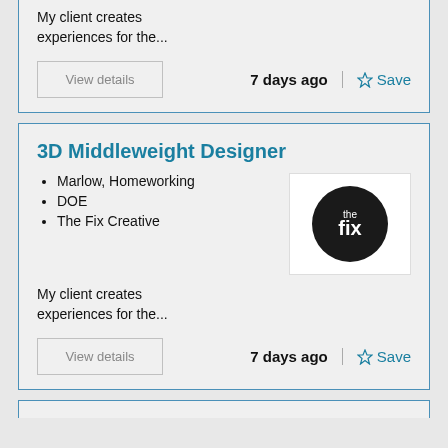My client creates experiences for the...
View details
7 days ago
Save
3D Middleweight Designer
Marlow, Homeworking
DOE
The Fix Creative
[Figure (logo): The Fix Creative logo — black circle with 'the fix' text in white]
My client creates experiences for the...
View details
7 days ago
Save